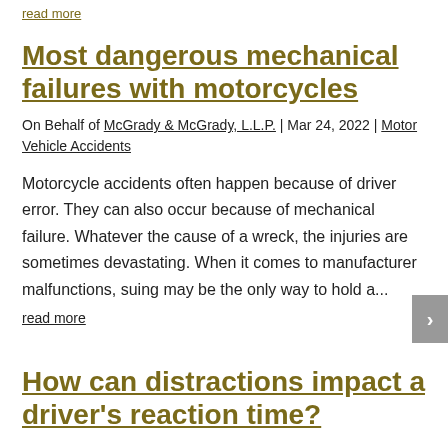read more
Most dangerous mechanical failures with motorcycles
On Behalf of McGrady & McGrady, L.L.P. | Mar 24, 2022 | Motor Vehicle Accidents
Motorcycle accidents often happen because of driver error. They can also occur because of mechanical failure. Whatever the cause of a wreck, the injuries are sometimes devastating. When it comes to manufacturer malfunctions, suing may be the only way to hold a...
read more
How can distractions impact a driver's reaction time?